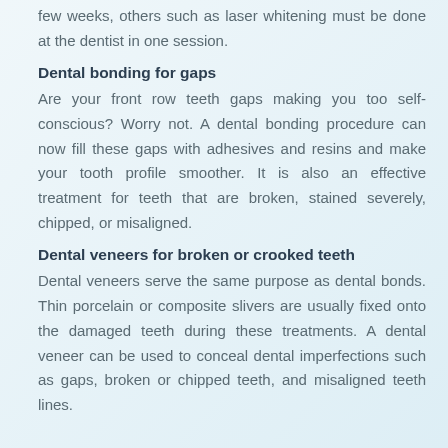few weeks, others such as laser whitening must be done at the dentist in one session.
Dental bonding for gaps
Are your front row teeth gaps making you too self-conscious? Worry not. A dental bonding procedure can now fill these gaps with adhesives and resins and make your tooth profile smoother. It is also an effective treatment for teeth that are broken, stained severely, chipped, or misaligned.
Dental veneers for broken or crooked teeth
Dental veneers serve the same purpose as dental bonds. Thin porcelain or composite slivers are usually fixed onto the damaged teeth during these treatments. A dental veneer can be used to conceal dental imperfections such as gaps, broken or chipped teeth, and misaligned teeth lines.